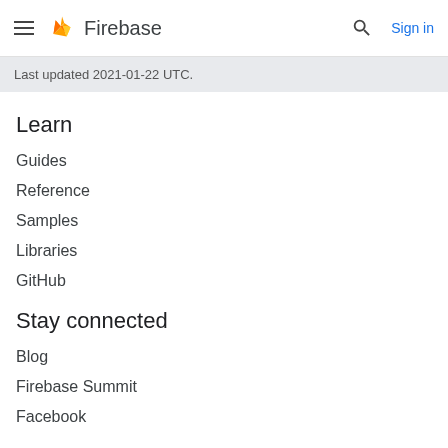Firebase  Sign in
Last updated 2021-01-22 UTC.
Learn
Guides
Reference
Samples
Libraries
GitHub
Stay connected
Blog
Firebase Summit
Facebook